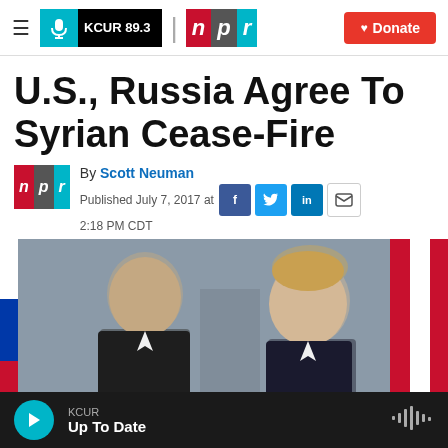KCUR 89.3 | npr | Donate
U.S., Russia Agree To Syrian Cease-Fire
By Scott Neuman
Published July 7, 2017 at 2:18 PM CDT
[Figure (photo): Photo of two world leaders, apparently Putin and Trump, leaning toward each other in conversation, with Russian and American flags visible in the background]
KCUR
Up To Date